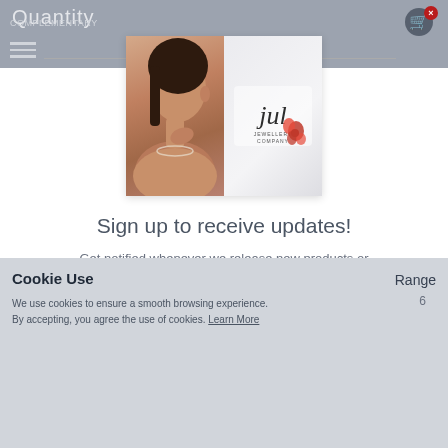Quantity
[Figure (photo): Split image: left half shows a woman touching a pearl necklace, right half shows the 'jul' brand logo on a white background with a red flower accent]
Sign up to receive updates!
Get notified whenever we release new products or offers.
Cookie Use
We use cookies to ensure a smooth browsing experience. By accepting, you agree the use of cookies. Learn More
Range
6